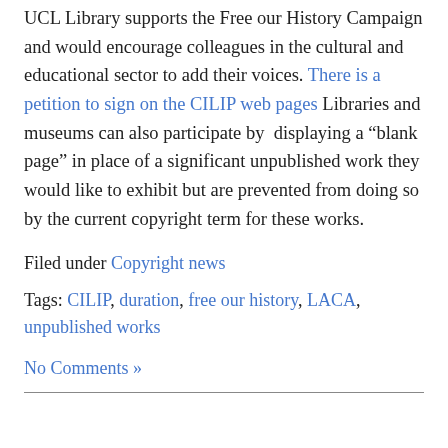UCL Library supports the Free our History Campaign and would encourage colleagues in the cultural and educational sector to add their voices. There is a petition to sign on the CILIP web pages Libraries and museums can also participate by displaying a "blank page" in place of a significant unpublished work they would like to exhibit but are prevented from doing so by the current copyright term for these works.
Filed under Copyright news
Tags: CILIP, duration, free our history, LACA, unpublished works
No Comments »